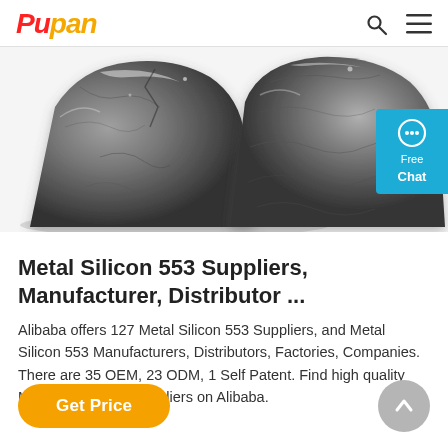Pupan
[Figure (photo): Two chunks of dark gray metallic silicon (Metal Silicon 553) on a white background. The pieces have a rough, crystalline texture with angular surfaces.]
Metal Silicon 553 Suppliers, Manufacturer, Distributor ...
Alibaba offers 127 Metal Silicon 553 Suppliers, and Metal Silicon 553 Manufacturers, Distributors, Factories, Companies. There are 35 OEM, 23 ODM, 1 Self Patent. Find high quality Metal Silicon 553 Suppliers on Alibaba.
Get Price